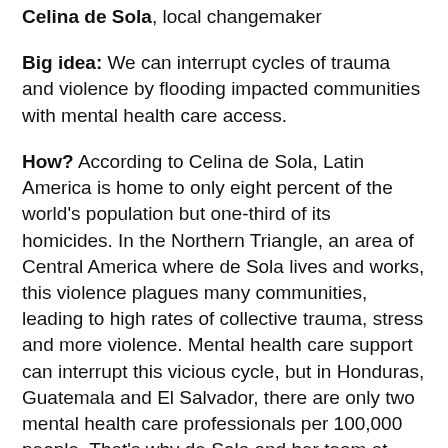Celina de Sola, local changemaker
Big idea: We can interrupt cycles of trauma and violence by flooding impacted communities with mental health care access.
How? According to Celina de Sola, Latin America is home to only eight percent of the world's population but one-third of its homicides. In the Northern Triangle, an area of Central America where de Sola lives and works, this violence plagues many communities, leading to high rates of collective trauma, stress and more violence. Mental health care support can interrupt this vicious cycle, but in Honduras, Guatemala and El Salvador, there are only two mental health care professionals per 100,000 people. That's why de Sola and her team at Glasswing International are enlisting regular people to deliver mental health